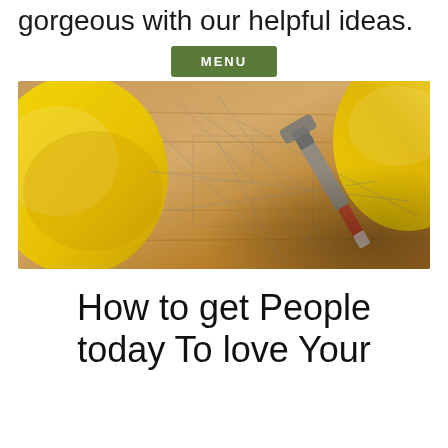gorgeous with our helpful ideas.
[Figure (screenshot): Green MENU navigation button above a photo of yellow hard hats, architectural blueprints, and tools on a wooden surface]
How to get People today To love Your